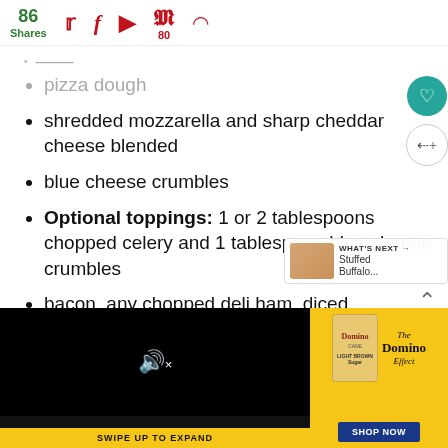86 Shares | Social share icons: Twitter, Facebook, Flipboard, Pinterest (80), other
pizza dough
shredded mozzarella and sharp cheddar cheese blended
blue cheese crumbles
Optional toppings: 1 or 2 tablespoons chopped celery and 1 tablespoon blue cheese crumbles
bacon, any chopped deli ham, diced tomatoes. peppers, onion, garlic,
cayenne pepper, cajun spice, black pepper, and parsley ... d pepperoni ... isla...
[Figure (screenshot): Video player overlay (black rectangle with mute icon) and Domino Sugar advertisement at the bottom of the page, with SWIPE UP TO EXPAND label]